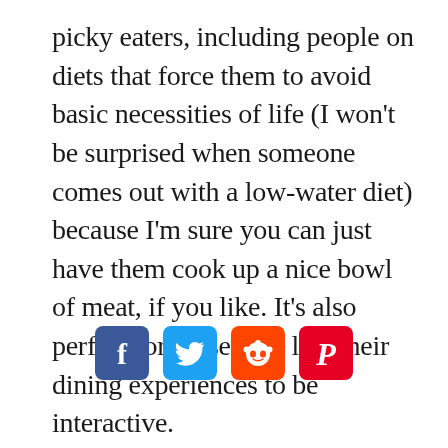picky eaters, including people on diets that force them to avoid basic necessities of life (I won't be surprised when someone comes out with a low-water diet) because I'm sure you can just have them cook up a nice bowl of meat, if you like. It's also perfect for those who like their dining experiences to be interactive.
[Figure (other): Social media share icons: Facebook (blue), Twitter (blue), Reddit (orange), Pinterest (red)]